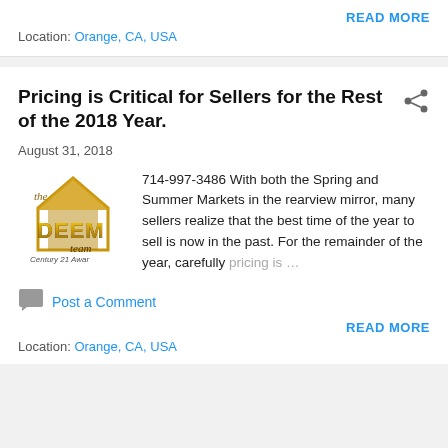READ MORE
Location: Orange, CA, USA
Pricing is Critical for Sellers for the Rest of the 2018 Year.
[Figure (logo): The Deem Team - Century 21 Award logo with golden house icon]
August 31, 2018
714-997-3486 With both the Spring and Summer Markets in the rearview mirror, many sellers realize that the best time of the year to sell is now in the past. For the remainder of the year, carefully pricing is ...
Post a Comment
READ MORE
Location: Orange, CA, USA